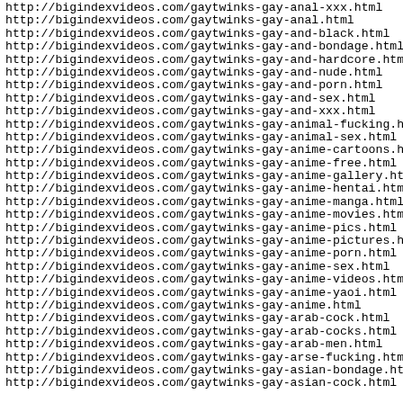http://bigindexvideos.com/gaytwinks-gay-anal-xxx.html
http://bigindexvideos.com/gaytwinks-gay-anal.html
http://bigindexvideos.com/gaytwinks-gay-and-black.html
http://bigindexvideos.com/gaytwinks-gay-and-bondage.html
http://bigindexvideos.com/gaytwinks-gay-and-hardcore.html
http://bigindexvideos.com/gaytwinks-gay-and-nude.html
http://bigindexvideos.com/gaytwinks-gay-and-porn.html
http://bigindexvideos.com/gaytwinks-gay-and-sex.html
http://bigindexvideos.com/gaytwinks-gay-and-xxx.html
http://bigindexvideos.com/gaytwinks-gay-animal-fucking.html
http://bigindexvideos.com/gaytwinks-gay-animal-sex.html
http://bigindexvideos.com/gaytwinks-gay-anime-cartoons.html
http://bigindexvideos.com/gaytwinks-gay-anime-free.html
http://bigindexvideos.com/gaytwinks-gay-anime-gallery.html
http://bigindexvideos.com/gaytwinks-gay-anime-hentai.html
http://bigindexvideos.com/gaytwinks-gay-anime-manga.html
http://bigindexvideos.com/gaytwinks-gay-anime-movies.html
http://bigindexvideos.com/gaytwinks-gay-anime-pics.html
http://bigindexvideos.com/gaytwinks-gay-anime-pictures.html
http://bigindexvideos.com/gaytwinks-gay-anime-porn.html
http://bigindexvideos.com/gaytwinks-gay-anime-sex.html
http://bigindexvideos.com/gaytwinks-gay-anime-videos.html
http://bigindexvideos.com/gaytwinks-gay-anime-yaoi.html
http://bigindexvideos.com/gaytwinks-gay-anime.html
http://bigindexvideos.com/gaytwinks-gay-arab-cock.html
http://bigindexvideos.com/gaytwinks-gay-arab-cocks.html
http://bigindexvideos.com/gaytwinks-gay-arab-men.html
http://bigindexvideos.com/gaytwinks-gay-arse-fucking.html
http://bigindexvideos.com/gaytwinks-gay-asian-bondage.html
http://bigindexvideos.com/gaytwinks-gay-asian-cock.html